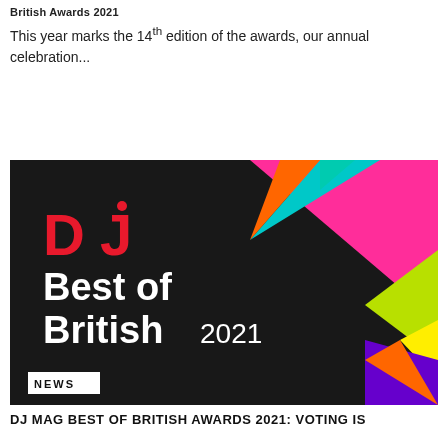British Awards 2021
This year marks the 14th edition of the awards, our annual celebration...
[Figure (photo): DJ Mag Best of British 2021 promotional banner image on dark background with colorful geometric shapes in top right corner. Features the DJ Mag red logo, and bold white text reading 'Best of British 2021'. A white NEWS badge appears in the bottom left corner.]
DJ MAG BEST OF BRITISH AWARDS 2021: VOTING IS